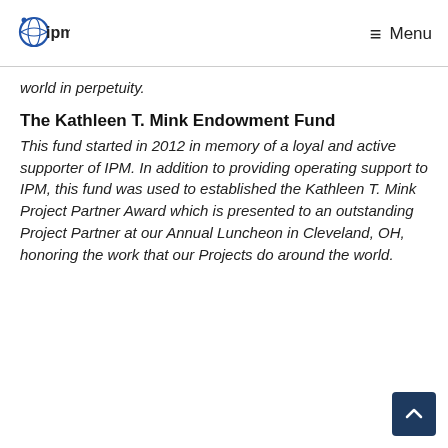ipm  Menu
world in perpetuity.
The Kathleen T. Mink Endowment Fund
This fund started in 2012 in memory of a loyal and active supporter of IPM. In addition to providing operating support to IPM, this fund was used to established the Kathleen T. Mink Project Partner Award which is presented to an outstanding Project Partner at our Annual Luncheon in Cleveland, OH, honoring the work that our Projects do around the world.